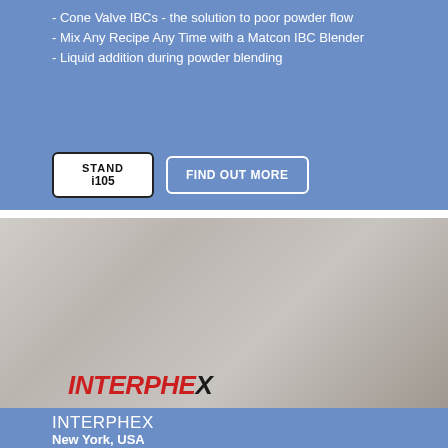- Cone Valve IBCs - the solution to poor powder flow
- Mix Any Recipe Any Time with a Matcon IBC Blender
- Liquid addition during powder blending
STAND i105
FIND OUT MORE
[Figure (photo): Gloved hands holding colorful pharmaceutical capsules and pills, with INTERPHEX logo and 24 MAY date overlay]
INTERPHEX
New York, USA